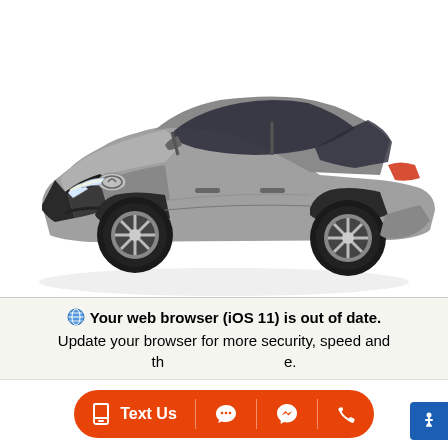[Figure (photo): Silver 2023 Toyota Camry FWD LE sedan, photographed from a 3/4 front angle on white background, showing the sporty front fascia, large alloy wheels, and sleek silhouette.]
New 2023 Toyota Camry FWD LE
LE Sedan 4D Sedan FWD 8-Speed Automatic w/OD
See below for additional fees, costs, and products*
🌐 Your web browser (iOS 11) is out of date. Update your browser for more security, speed and the best experience on this site.
[Figure (screenshot): Bottom toolbar with orange pill-shaped button containing phone icon, 'Text Us' label, chat icon, Messenger icon, and phone call icon. Blue accessibility button on far right.]